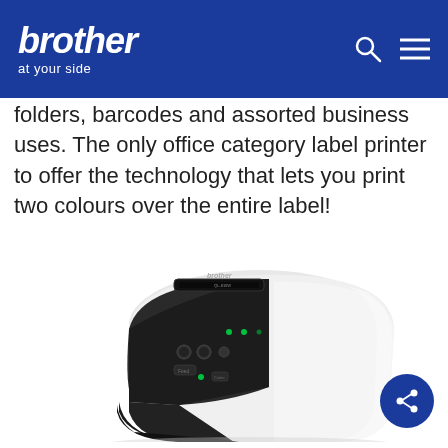brother at your side
folders, barcodes and assorted business uses. The only office category label printer to offer the technology that lets you print two colours over the entire label!
[Figure (photo): Brother label printer (black and white desktop label printer, model QL-810W or similar) shown at a three-quarter angle on a white background. The device has a black control panel with green indicator lights and buttons, and a white body.]
[Figure (infographic): Dark blue circular share button with a share/network icon in white]